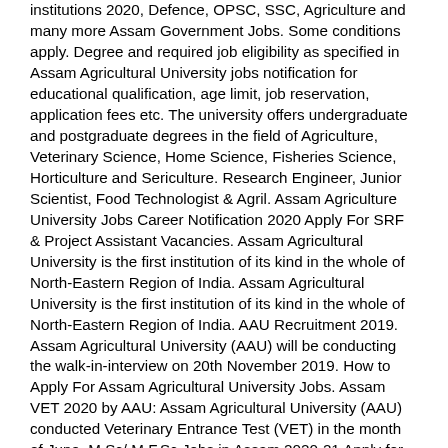institutions 2020, Defence, OPSC, SSC, Agriculture and many more Assam Government Jobs. Some conditions apply. Degree and required job eligibility as specified in Assam Agricultural University jobs notification for educational qualification, age limit, job reservation, application fees etc. The university offers undergraduate and postgraduate degrees in the field of Agriculture, Veterinary Science, Home Science, Fisheries Science, Horticulture and Sericulture. Research Engineer, Junior Scientist, Food Technologist & Agril. Assam Agriculture University Jobs Career Notification 2020 Apply For SRF & Project Assistant Vacancies. Assam Agricultural University is the first institution of its kind in the whole of North-Eastern Region of India. Assam Agricultural University is the first institution of its kind in the whole of North-Eastern Region of India. AAU Recruitment 2019. Assam Agricultural University (AAU) will be conducting the walk-in-interview on 20th November 2019. How to Apply For Assam Agricultural University Jobs. Assam VET 2020 by AAU: Assam Agricultural University (AAU) conducted Veterinary Entrance Test (VET) in the month of June. M.Sc/ M.F.Sc Jobs in Assam 2020-21 Apply for Senior Research Fellow & Project Assistant Posts In Assam Agricultural University AAU Raha.. Assam Agriculture University Recruitment 2020 Latest Jobs Vacancy. Assam Agricultural University, Jorhat has released an employment notification for the recruitment of 1 post of Vice-Chancellor of the University for Indian Citizen. The Minister of Agriculture, Assam - Chairman 2. Assam Agricultural University Recruitment 2020: Applications are invited from the Indian citizens for filling up the posts of Asstt.Research Engineer, Junior Scientist, Food Technologist and Agril. of Agril. 🔼 ABOUT INSTITUTION. This article explains about the admission...